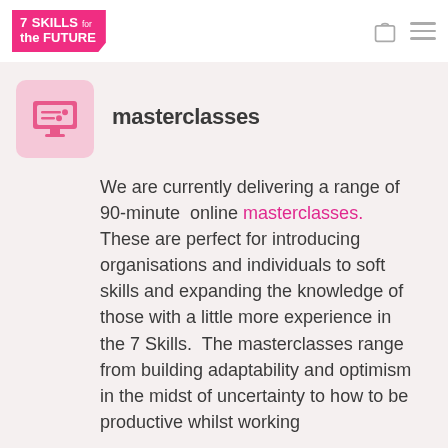7 SKILLS for the FUTURE
[Figure (illustration): Pink square icon with a computer/monitor and horizontal sliders, representing online masterclasses]
masterclasses
We are currently delivering a range of 90-minute online masterclasses. These are perfect for introducing organisations and individuals to soft skills and expanding the knowledge of those with a little more experience in the 7 Skills. The masterclasses range from building adaptability and optimism in the midst of uncertainty to how to be productive whilst working